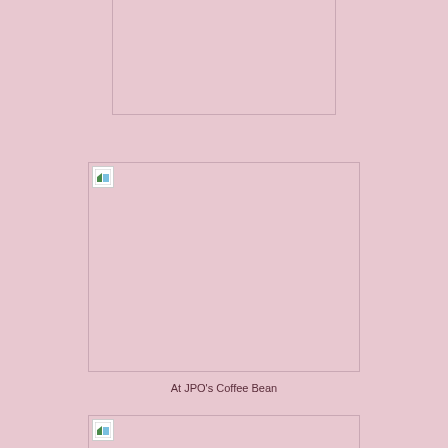[Figure (photo): Image placeholder (broken image) in first photo box, top center of page]
[Figure (photo): Image placeholder (broken image icon visible) in second photo box, middle center of page]
At JPO's Coffee Bean
[Figure (photo): Image placeholder (broken image icon visible) in third photo box, bottom center of page]